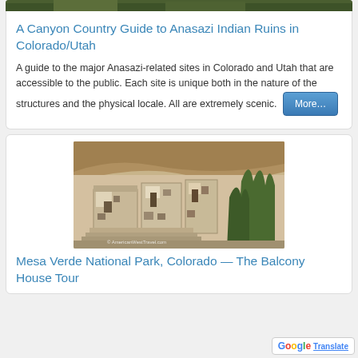[Figure (photo): Top portion of a canyon/nature photo (partially cropped at top of page)]
A Canyon Country Guide to Anasazi Indian Ruins in Colorado/Utah
A guide to the major Anasazi-related sites in Colorado and Utah that are accessible to the public. Each site is unique both in the nature of the structures and the physical locale. All are extremely scenic.
[Figure (photo): Cliff dwelling ruins at Mesa Verde National Park, Colorado. Stone structures built into a canyon overhang. Watermark: © AmericanWestTravel.com]
Mesa Verde National Park, Colorado — The Balcony House Tour